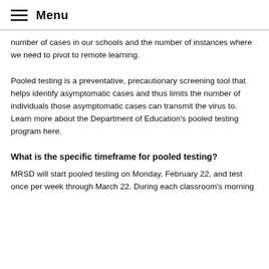Menu
number of cases in our schools and the number of instances where we need to pivot to remote learning.
Pooled testing is a preventative, precautionary screening tool that helps identify asymptomatic cases and thus limits the number of individuals those asymptomatic cases can transmit the virus to. Learn more about the Department of Education's pooled testing program here.
What is the specific timeframe for pooled testing?
MRSD will start pooled testing on Monday, February 22, and test once per week through March 22. During each classroom's morning